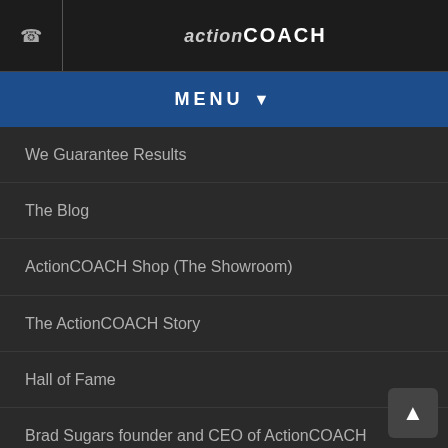ActionCOACH
MENU
We Guarantee Results
The Blog
ActionCOACH Shop (The Showroom)
The ActionCOACH Story
Hall of Fame
Brad Sugars founder and CEO of ActionCOACH
Global Team
Frequently Asked Questions
Vision & Mission
The 14-points of Culture